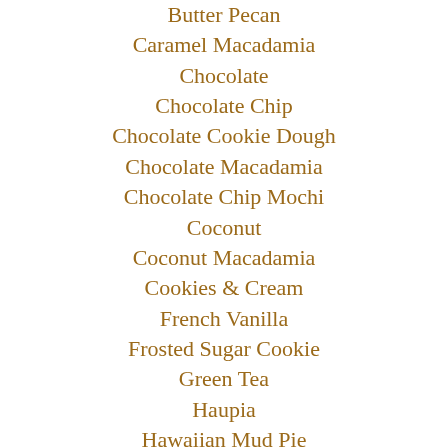Butter Pecan
Caramel Macadamia
Chocolate
Chocolate Chip
Chocolate Cookie Dough
Chocolate Macadamia
Chocolate Chip Mochi
Coconut
Coconut Macadamia
Cookies & Cream
French Vanilla
Frosted Sugar Cookie
Green Tea
Haupia
Hawaiian Mud Pie
Kahlua Fudge
Kona Coffee
Kulolo